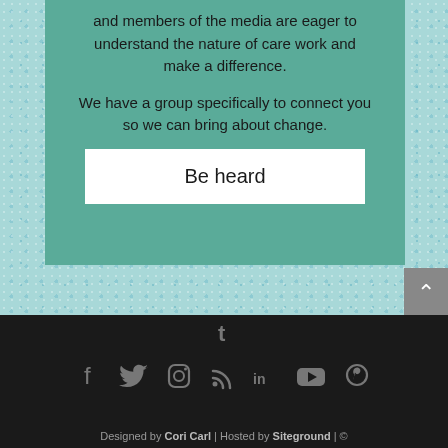and members of the media are eager to understand the nature of care work and make a difference.
We have a group specifically to connect you so we can bring about change.
Be heard
[Figure (other): Social media icons row: Facebook, Twitter, Instagram, RSS, LinkedIn, YouTube, Pinterest, Tumblr]
Designed by Cori Carl | Hosted by Siteground | ©